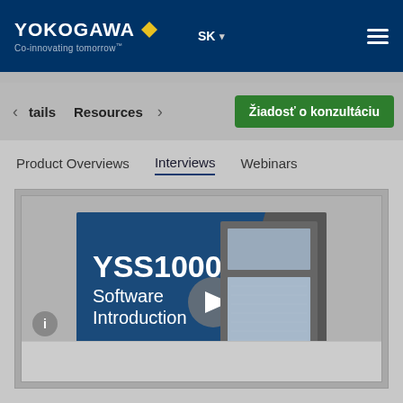[Figure (logo): Yokogawa logo with diamond icon and tagline 'Co-innovating tomorrow']
SK ▾
☰
< tails   Resources >
Žiadosť o konzultáciu
Product Overviews
Interviews
Webinars
[Figure (screenshot): YSS1000 Software Introduction video thumbnail with play button, showing blue diagonal banner with product name and device image]
ℹ